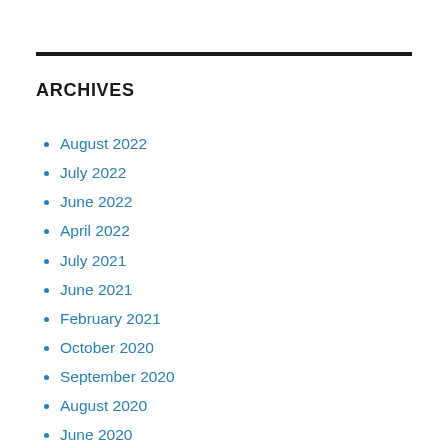ARCHIVES
August 2022
July 2022
June 2022
April 2022
July 2021
June 2021
February 2021
October 2020
September 2020
August 2020
June 2020